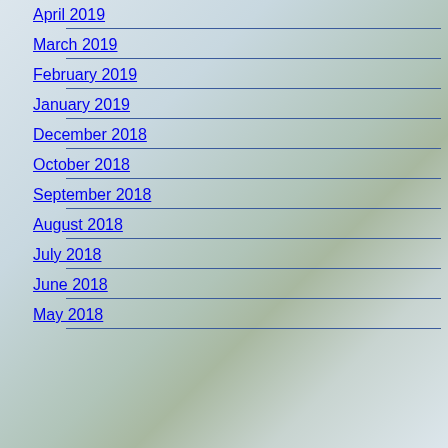April 2019
March 2019
February 2019
January 2019
December 2018
October 2018
September 2018
August 2018
July 2018
June 2018
May 2018